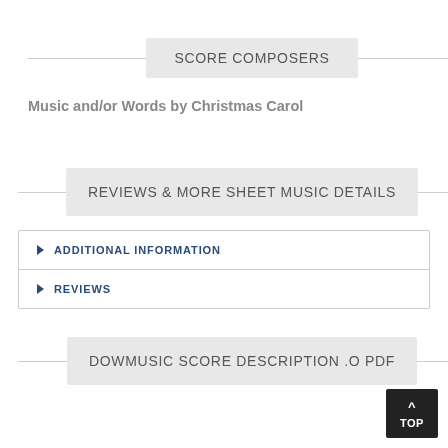SCORE COMPOSERS
Music and/or Words by Christmas Carol
REVIEWS & MORE SHEET MUSIC DETAILS
ADDITIONAL INFORMATION
REVIEWS
DOWMUSIC SCORE DESCRIPTION .O PDF